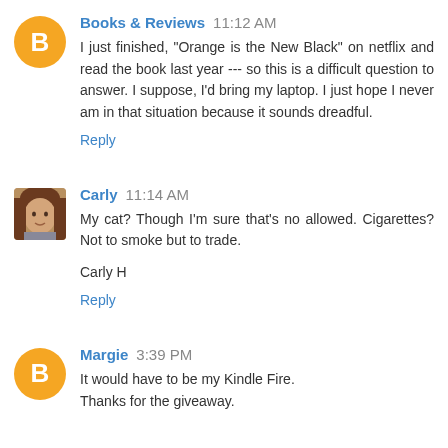Books & Reviews  11:12 AM
I just finished, "Orange is the New Black" on netflix and read the book last year --- so this is a difficult question to answer. I suppose, I'd bring my laptop. I just hope I never am in that situation because it sounds dreadful.
Reply
Carly  11:14 AM
My cat? Though I'm sure that's no allowed. Cigarettes? Not to smoke but to trade.

Carly H
Reply
Margie  3:39 PM
It would have to be my Kindle Fire.
Thanks for the giveaway.